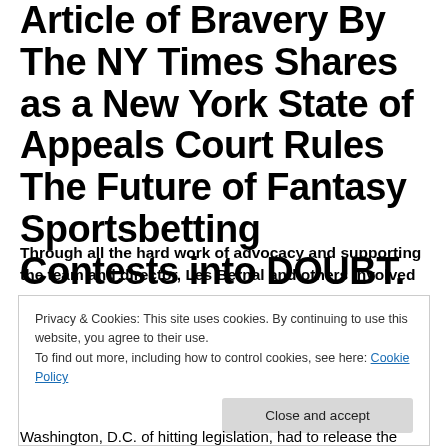Article of Bravery By The NY Times Shares as a New York State of Appeals Court Rules The Future of Fantasy Sportsbetting Contests into DOUBT.
Through all the hard work of advocacy and supporting the team and director, Les Bernal and others involved
Privacy & Cookies: This site uses cookies. By continuing to use this website, you agree to their use.
To find out more, including how to control cookies, see here: Cookie Policy

Close and accept
Washington, D.C. of hitting legislation, had to release the